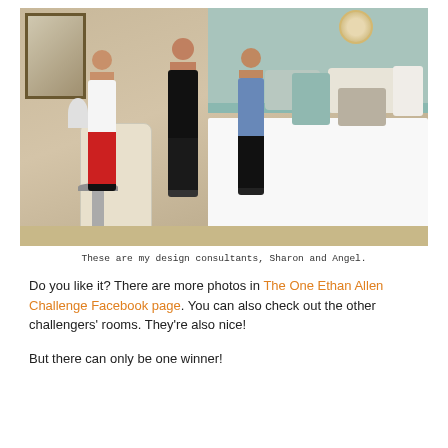[Figure (photo): Three women standing together in a bedroom furniture showroom. The woman on the left wears a white shirt and red pants, the woman in the middle wears all black, and the woman on the right wears a blue shirt and black pants. Behind them is a bed with a teal/mint upholstered headboard, decorative pillows, and a sunburst mirror on the wall. There is also a cream chair and small side table on the left.]
These are my design consultants, Sharon and Angel.
Do you like it? There are more photos in The One Ethan Allen Challenge Facebook page. You can also check out the other challengers' rooms. They're also nice!
But there can only be one winner!